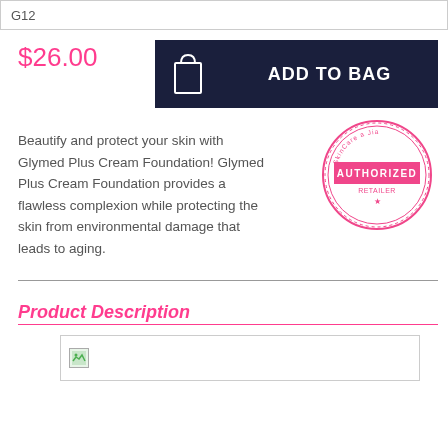G12
$26.00
ADD TO BAG
Beautify and protect your skin with Glymed Plus Cream Foundation! Glymed Plus Cream Foundation provides a flawless complexion while protecting the skin from environmental damage that leads to aging.
[Figure (logo): SkinCare Authorized Retailer badge - circular pink stamp logo]
Product Description
[Figure (photo): Broken image placeholder]